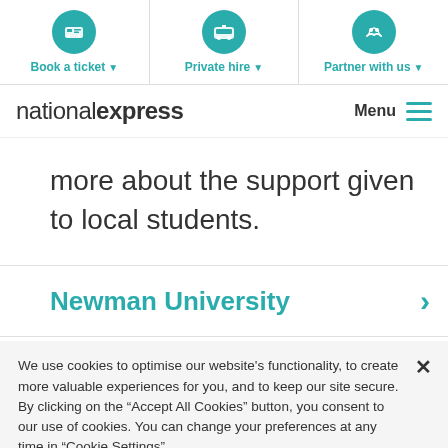[Figure (screenshot): Navigation bar with three teal icon circles: Book a ticket (ticket icon), Private hire (bus icon), Partner with us (handshake icon), each with a dropdown arrow]
national express  Menu
more about the support given to local students.
Newman University
We use cookies to optimise our website's functionality, to create more valuable experiences for you, and to keep our site secure. By clicking on the “Accept All Cookies” button, you consent to our use of cookies. You can change your preferences at any time in “Cookie Settings”.